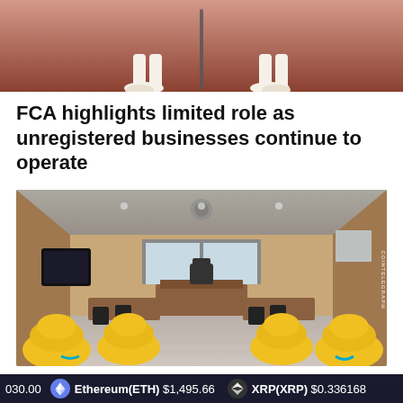[Figure (illustration): Illustrated image with cartoon figures on a reddish-brown background, CoinTelegraph watermark visible]
FCA highlights limited role as unregistered businesses continue to operate
[Figure (illustration): Illustration of a courtroom interior with yellow cartoon character seats, wooden desks, judge's bench, and screens. CoinTelegraph watermark visible on right side.]
Plaintiff in Coinbase lawsuit raises issues of
030.00  Ethereum(ETH) $1,495.66  XRP(XRP) $0.336168